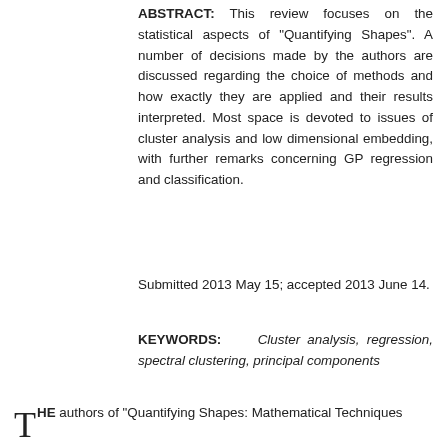ABSTRACT: This review focuses on the statistical aspects of "Quantifying Shapes". A number of decisions made by the authors are discussed regarding the choice of methods and how exactly they are applied and their results interpreted. Most space is devoted to issues of cluster analysis and low dimensional embedding, with further remarks concerning GP regression and classification.
Submitted 2013 May 15; accepted 2013 June 14.
KEYWORDS: Cluster analysis, regression, spectral clustering, principal components
THE authors of "Quantifying Shapes: Mathematical Techniques